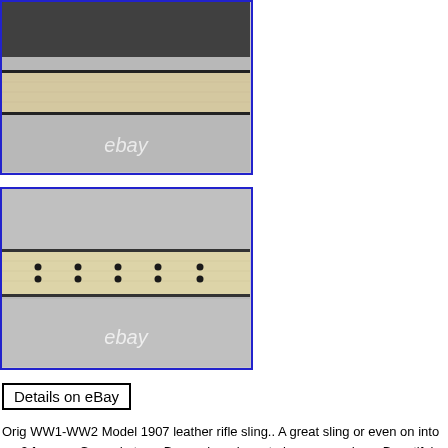[Figure (photo): Close-up photo of a leather rifle sling section, light tan/beige color, showing stitching detail or texture. Blue border frame. eBay watermark in lower center.]
[Figure (photo): Close-up photo of a leather rifle sling showing multiple pairs of punched holes along the strap, light tan/beige leather on gray textured background. Blue border frame. eBay watermark in lower center.]
Details on eBay
Orig WW1-WW2 Model 1907 leather rifle sling.. A great sling or even on into ww2 for your Garand etc…. Brass claws have to be copper, does. Beautiful nice strong markings… Has bo